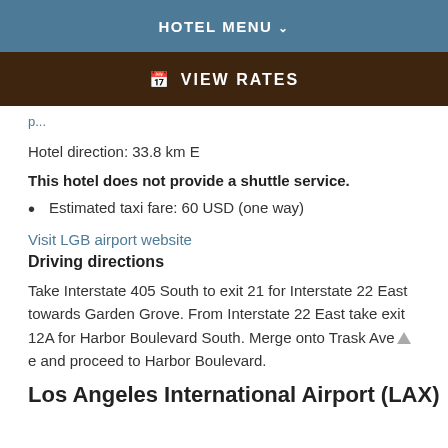HOTEL MENU ˅
📅 VIEW RATES
Hotel direction: 33.8 km E
This hotel does not provide a shuttle service.
Estimated taxi fare: 60 USD (one way)
Visit LGB airport website
Driving directions
Take Interstate 405 South to exit 21 for Interstate 22 East towards Garden Grove. From Interstate 22 East take exit 12A for Harbor Boulevard South. Merge onto Trask Avenue and proceed to Harbor Boulevard.
Los Angeles International Airport (LAX)